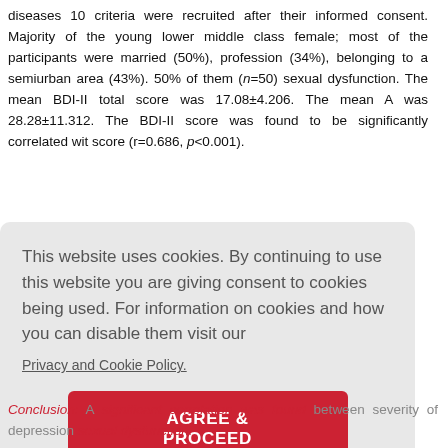diseases 10 criteria were recruited after their informed consent. Majority of the young lower middle class female; most of the participants were married (50%), profession (34%), belonging to a semiurban area (43%). 50% of them (n=50) sexual dysfunction. The mean BDI-II total score was 17.08±4.206. The mean A was 28.28±11.312. The BDI-II score was found to be significantly correlated wit score (r=0.686, p<0.001).
This website uses cookies. By continuing to use this website you are giving consent to cookies being used. For information on cookies and how you can disable them visit our
Privacy and Cookie Policy.
AGREE & PROCEED
Conclusion: A significant correlation was found between severity of depression sexual dysfunction.